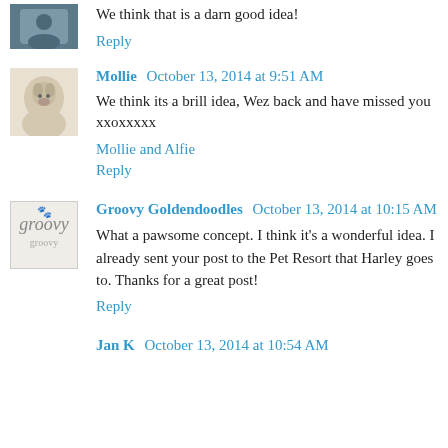We think that is a darn good idea!
Reply
Mollie  October 13, 2014 at 9:51 AM
We think its a brill idea, Wez back and have missed you xxoxxxxx
Mollie and Alfie
Reply
Groovy Goldendoodles  October 13, 2014 at 10:15 AM
What a pawsome concept. I think it's a wonderful idea. I already sent your post to the Pet Resort that Harley goes to. Thanks for a great post!
Reply
Jan K  October 13, 2014 at 10:54 AM